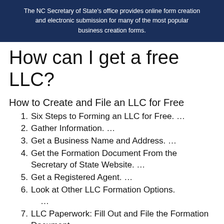The NC Secretary of State's office provides online form creation and electronic submission for many of the most popular business creation forms.
How can I get a free LLC?
How to Create and File an LLC for Free
Six Steps to Forming an LLC for Free. …
Gather Information. …
Get a Business Name and Address. …
Get the Formation Document From the Secretary of State Website. …
Get a Registered Agent. …
Look at Other LLC Formation Options. …
LLC Paperwork: Fill Out and File the Formation Document.